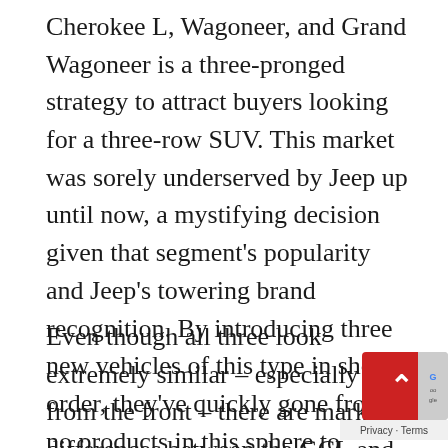Cherokee L, Wagoneer, and Grand Wagoneer is a three-pronged strategy to attract buyers looking for a three-row SUV. This market was sorely underserved by Jeep up until now, a mystifying decision given that segment's popularity and Jeep's towering brand recognition. By introducing three new vehicles of this type in short order, they've quickly gone from no products in this sphere to having an abundance.
Even though all three look extremely similar – especially from the front – there are marked differences between the GCL and Wagoneer brothers. The latter draws much from the R pickup truck, including a brace of V8 engin The three-row Cherokee is also available with a